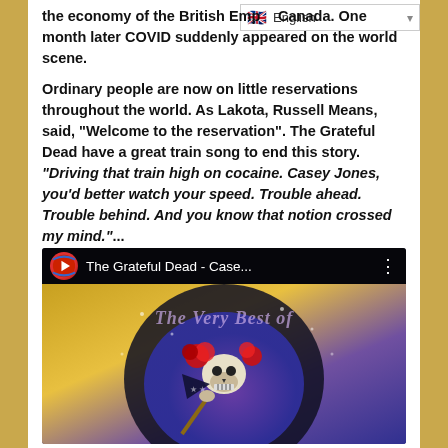the economy of the British Empire, Canada. One month later COVID suddenly appeared on the world scene.
Ordinary people are now on little reservations throughout the world. As Lakota, Russell Means, said, "Welcome to the reservation". The Grateful Dead have a great train song to end this story. "Driving that train high on cocaine. Casey Jones, you'd better watch your speed. Trouble ahead. Trouble behind. And you know that notion crossed my mind."...
[Figure (screenshot): YouTube video thumbnail for 'The Grateful Dead - Case...' showing The Very Best of Grateful Dead album art with a skeleton holding a flag surrounded by roses]